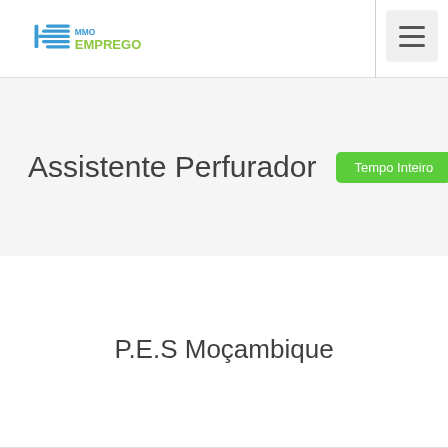[Figure (logo): MMO Emprego logo with blue horizontal lines icon and green EMPREGO text]
Assistente Perfurador
Tempo Inteiro
P.E.S Moçambique